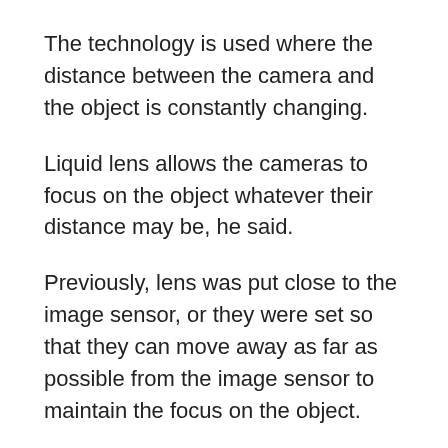The technology is used where the distance between the camera and the object is constantly changing.
Liquid lens allows the cameras to focus on the object whatever their distance may be, he said.
Previously, lens was put close to the image sensor, or they were set so that they can move away as far as possible from the image sensor to maintain the focus on the object.
Actuators are used in large reflective cameras and small camera modules on smartphones for this task.
However, these mechanical solutions are vulnerable to external shock and increase the power